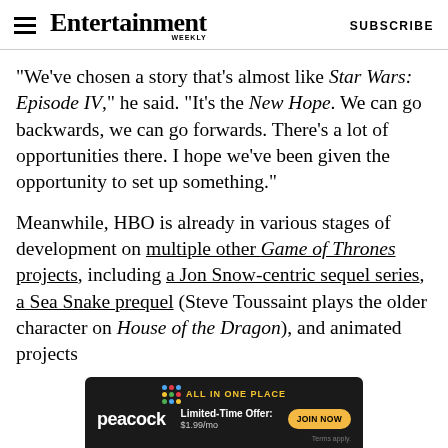Entertainment Weekly  SUBSCRIBE
"We've chosen a story that's almost like Star Wars: Episode IV," he said. "It's the New Hope. We can go backwards, we can go forwards. There's a lot of opportunities there. I hope we've been given the opportunity to set up something."
Meanwhile, HBO is already in various stages of development on multiple other Game of Thrones projects, including a Jon Snow-centric sequel series, a Sea Snake prequel (Steve Toussaint plays the older character on House of the Dragon), and animated projects
[Figure (other): Peacock streaming service advertisement banner: ALL IN ONE PLACE, Limited-Time Offer: $1.99/mo, JOIN NOW button, Terms apply.]